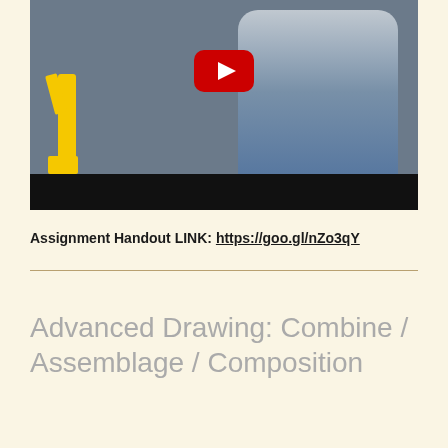[Figure (screenshot): YouTube video thumbnail showing a person in a blue shirt and glasses working on a textured wall, with a yellow stand visible on the left. A red YouTube play button overlay is centered on the image. A black bar appears at the bottom of the video player.]
Assignment Handout LINK: https://goo.gl/nZo3qY
Advanced Drawing: Combine / Assemblage / Composition